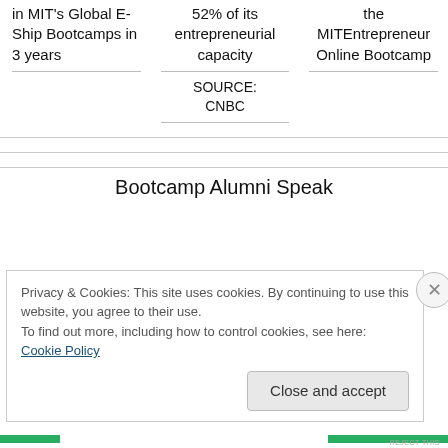in MIT's Global E-Ship Bootcamps in 3 years
52% of its entrepreneurial capacity
the MITEntrepreneur Online Bootcamp
SOURCE: CNBC
Bootcamp Alumni Speak
Privacy & Cookies: This site uses cookies. By continuing to use this website, you agree to their use.
To find out more, including how to control cookies, see here: Cookie Policy
Close and accept